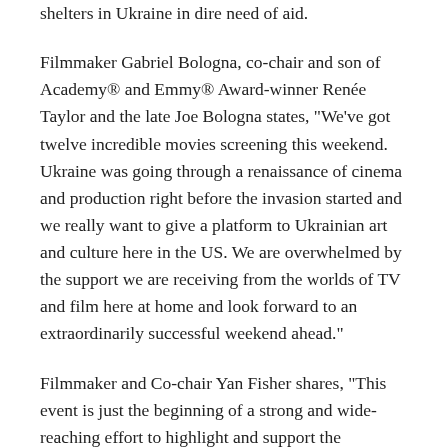shelters in Ukraine in dire need of aid.
Filmmaker Gabriel Bologna, co-chair and son of Academy® and Emmy® Award-winner Renée Taylor and the late Joe Bologna states, "We've got twelve incredible movies screening this weekend. Ukraine was going through a renaissance of cinema and production right before the invasion started and we really want to give a platform to Ukrainian art and culture here in the US. We are overwhelmed by the support we are receiving from the worlds of TV and film here at home and look forward to an extraordinarily successful weekend ahead."
Filmmaker and Co-chair Yan Fisher shares, "This event is just the beginning of a strong and wide-reaching effort to highlight and support the filmmakers and film production from Ukraine...